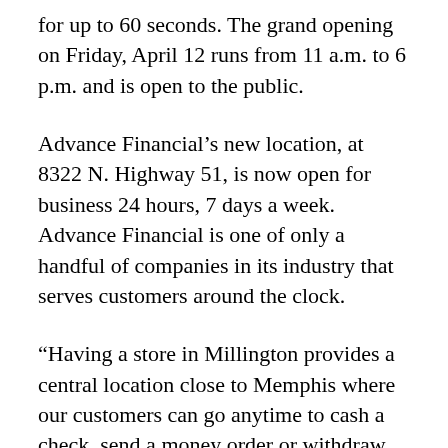for up to 60 seconds. The grand opening on Friday, April 12 runs from 11 a.m. to 6 p.m. and is open to the public.
Advance Financial's new location, at 8322 N. Highway 51, is now open for business 24 hours, 7 days a week. Advance Financial is one of only a handful of companies in its industry that serves customers around the clock.
“Having a store in Millington provides a central location close to Memphis where our customers can go anytime to cash a check, send a money order or withdraw money from their loan,” says Tina Hodges, the company’s chief executive and chief experience officer. “Of course, we’re also available online and by